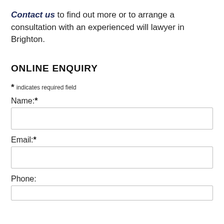Contact us to find out more or to arrange a consultation with an experienced will lawyer in Brighton.
ONLINE ENQUIRY
* indicates required field
Name:*
Email:*
Phone: